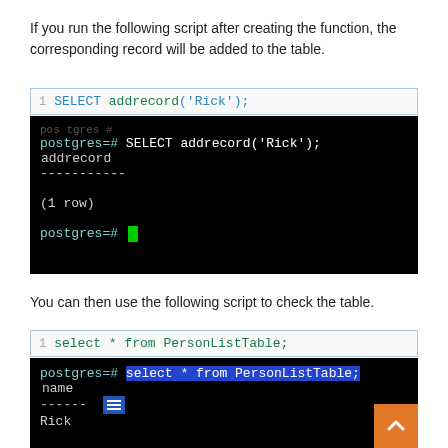If you run the following script after creating the function, the corresponding record will be added to the table.
[Figure (screenshot): Code editor line showing: 1  SELECT addrecord('Rick');]
[Figure (screenshot): Terminal output showing: postgres=# SELECT addrecord('Rick'); with addrecord result, dashes, (1 row), and postgres=# prompt with green cursor]
You can then use the following script to check the table.
[Figure (screenshot): Code editor line showing: 1  select * from PersonListTable;]
[Figure (screenshot): Terminal output showing: postgres=# select * from PersonListTable; with name column, dashes, Rick row, and orange back-to-top button]